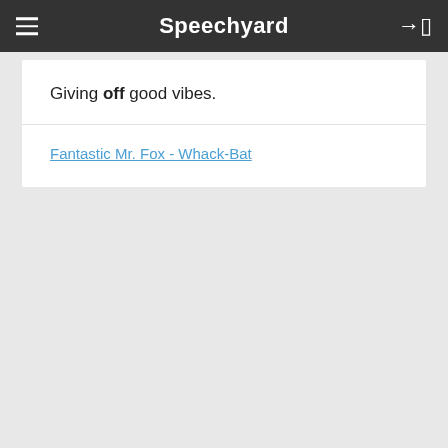Speechyard
Giving off good vibes.
Fantastic Mr. Fox - Whack-Bat